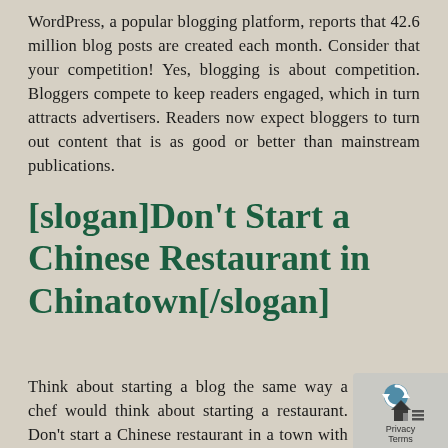WordPress, a popular blogging platform, reports that 42.6 million blog posts are created each month. Consider that your competition! Yes, blogging is about competition. Bloggers compete to keep readers engaged, which in turn attracts advertisers. Readers now expect bloggers to turn out content that is as good or better than mainstream publications.
[slogan]Don't Start a Chinese Restaurant in Chinatown[/slogan]
Think about starting a blog the same way a chef would think about starting a restaurant. Don't start a Chinese restaurant in a town with hundreds of